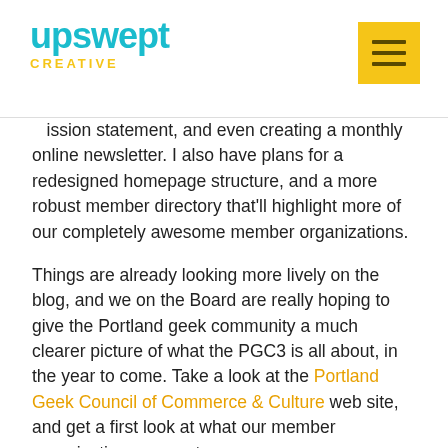upswept CREATIVE
mission statement, and even creating a monthly online newsletter. I also have plans for a redesigned homepage structure, and a more robust member directory that'll highlight more of our completely awesome member organizations.
Things are already looking more lively on the blog, and we on the Board are really hoping to give the Portland geek community a much clearer picture of what the PGC3 is all about, in the year to come. Take a look at the Portland Geek Council of Commerce & Culture web site, and get a first look at what our member organizations are up to.
Portland web design – Portland logo design – Upswept Creative
Posted in Design, Web Design, Websites